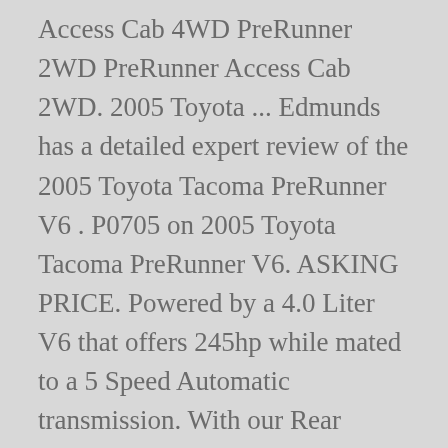Access Cab 4WD PreRunner 2WD PreRunner Access Cab 2WD. 2005 Toyota ... Edmunds has a detailed expert review of the 2005 Toyota Tacoma PreRunner V6 . P0705 on 2005 Toyota Tacoma PreRunner V6. ASKING PRICE. Powered by a 4.0 Liter V6 that offers 245hp while mated to a 5 Speed Automatic transmission. With our Rear Wheel Drive machine, you can expect near 22mpg on the highway. Seller information. Tacoma-V6 Base Access Cab 4WD PreRunner Access Cab 2WD X-Runner Access Cab 2WD. Get answers to buy with confidence. Take your place behind the wheel of our 2005 Toyota Tacoma PreRunner Double Cab 4X2 brought to you in Silver Streak Mica. Cost to own data is not currently